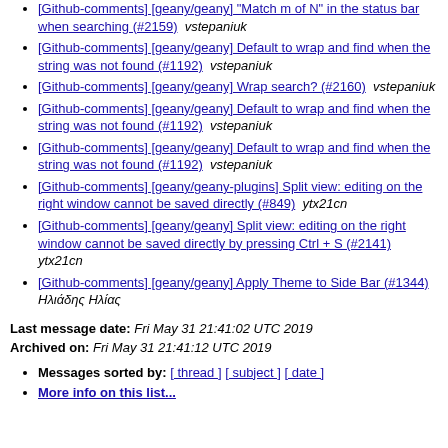[Github-comments] [geany/geany] "Match m of N" in the status bar when searching (#2159)  vstepaniuk
[Github-comments] [geany/geany] Default to wrap and find when the string was not found (#1192)  vstepaniuk
[Github-comments] [geany/geany] Wrap search? (#2160)  vstepaniuk
[Github-comments] [geany/geany] Default to wrap and find when the string was not found (#1192)  vstepaniuk
[Github-comments] [geany/geany] Default to wrap and find when the string was not found (#1192)  vstepaniuk
[Github-comments] [geany/geany-plugins] Split view: editing on the right window cannot be saved directly (#849)  ytx21cn
[Github-comments] [geany/geany] Split view: editing on the right window cannot be saved directly by pressing Ctrl + S (#2141)  ytx21cn
[Github-comments] [geany/geany] Apply Theme to Side Bar (#1344)  Ηλιάδης Ηλίας
Last message date: Fri May 31 21:41:02 UTC 2019
Archived on: Fri May 31 21:41:12 UTC 2019
Messages sorted by: [ thread ] [ subject ] [ date ]
More info on this list...